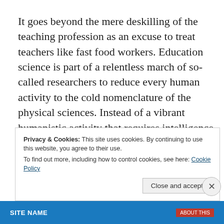It goes beyond the mere deskilling of the teaching profession as an excuse to treat teachers like fast food workers. Education science is part of a relentless march of so-called researchers to reduce every human activity to the cold nomenclature of the physical sciences. Instead of a vibrant humanistic activity that requires intelligence and passion, education scientists want to bury teaching under a mountain of sterile jargon. It is the same thing
Privacy & Cookies: This site uses cookies. By continuing to use this website, you agree to their use. To find out more, including how to control cookies, see here: Cookie Policy